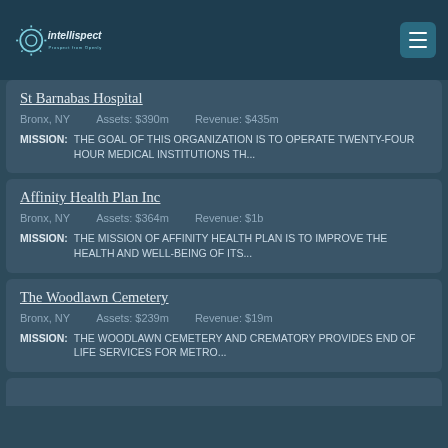intellispect
St Barnabas Hospital
Bronx, NY   Assets: $390m   Revenue: $435m
MISSION: THE GOAL OF THIS ORGANIZATION IS TO OPERATE TWENTY-FOUR HOUR MEDICAL INSTITUTIONS TH...
Affinity Health Plan Inc
Bronx, NY   Assets: $364m   Revenue: $1b
MISSION: THE MISSION OF AFFINITY HEALTH PLAN IS TO IMPROVE THE HEALTH AND WELL-BEING OF ITS...
The Woodlawn Cemetery
Bronx, NY   Assets: $239m   Revenue: $19m
MISSION: THE WOODLAWN CEMETERY AND CREMATORY PROVIDES END OF LIFE SERVICES FOR METRO...